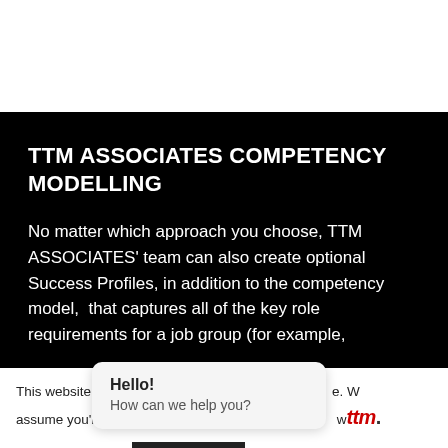TTM ASSOCIATES COMPETENCY MODELLING
No matter which approach you choose, TTM ASSOCIATES' team can also create optional Success Profiles, in addition to the competency model, that captures all of the key role requirements for a job group (for example,
This website uses cookies... We assume you're ok with this, but you can opt-out if you wish.
Hello! How can we help you?
Cookie settings
ACCEPT